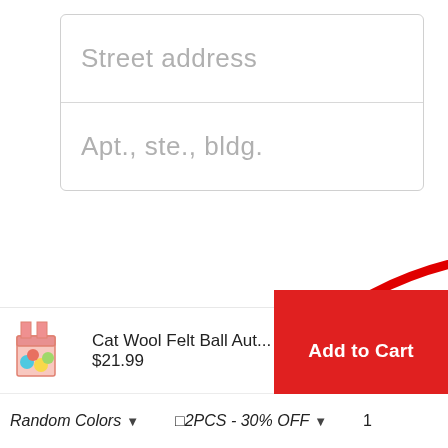[Figure (screenshot): Address form with two input fields: 'Street address' and 'Apt., ste., bldg.' placeholder text, with a large red arc annotation drawn over the form area.]
Cat Wool Felt Ball Aut...  $21.99
Add to Cart
Random Colors ▾  □2PCS - 30% OFF ▾  1